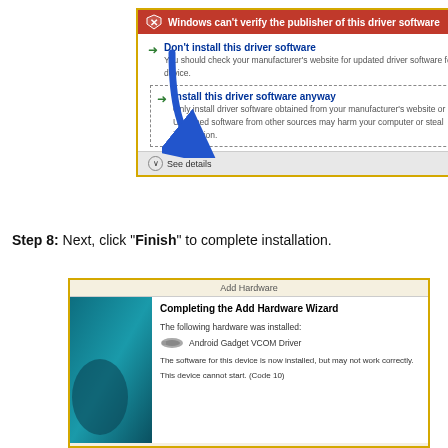[Figure (screenshot): Windows driver warning dialog: red header 'Windows can't verify the publisher of this driver software', two options - 'Don't install this driver software' and 'Install this driver software anyway' (selected/highlighted with dashed border), blue arrow pointing to second option, See details bar at bottom. Yellow border around dialog.]
Step 8: Next, click “Finish” to complete installation.
[Figure (screenshot): Add Hardware wizard completion dialog with teal/blue left panel, title 'Completing the Add Hardware Wizard', shows 'The following hardware was installed: Android Gadget VCOM Driver', notes 'The software for this device is now installed, but may not work correctly.' and 'This device cannot start. (Code 10)'. Yellow border around dialog.]